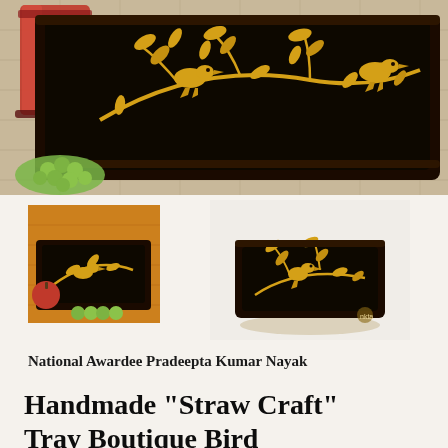[Figure (photo): Main product photo showing a dark wooden decorative serving tray with golden straw craft bird and floral design, placed on a woven mat surface with a red juice glass and green grapes nearby]
[Figure (photo): Thumbnail photo 1: smaller view of the same dark tray with golden straw craft design, with a red apple and green grapes in background]
[Figure (photo): Thumbnail photo 2: isolated product shot of the dark rectangular tray with golden straw craft bird design on plain background, with a small logo/watermark]
National Awardee Pradeepta Kumar Nayak
Handmade "Straw Craft" Tray Boutique Bird...